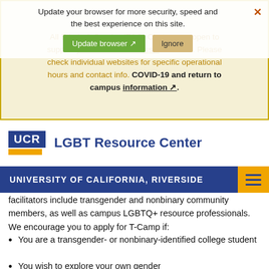Update your browser for more security, speed and the best experience on this site.
All Ethnic & Gender (E&G) Centers are open to support your student success and needs. Please check individual websites for specific operational hours and contact info. COVID-19 and return to campus information.
[Figure (logo): UCR logo with blue box containing UCR text and gold bar below, next to LGBT Resource Center text]
UNIVERSITY OF CALIFORNIA, RIVERSIDE
facilitators include transgender and nonbinary community members, as well as campus LGBTQ+ resource professionals. We encourage you to apply for T-Camp if:
You are a transgender- or nonbinary-identified college student
You wish to explore your own gender